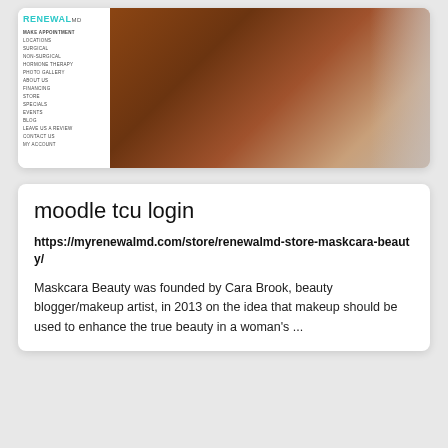[Figure (screenshot): Screenshot of RenewalMD website showing navigation sidebar with menu items (Make Appointment, Locations, Surgical, Non-Surgical, Hormone Therapy, Photo Gallery, About Us, Financing, Store, Specials, Events, Blog, Leave Us a Review, Contact Us, My Account) and a close-up skin/back photo on the right]
moodle tcu login
https://myrenewalmd.com/store/renewalmd-store-maskcara-beauty/
Maskcara Beauty was founded by Cara Brook, beauty blogger/makeup artist, in 2013 on the idea that makeup should be used to enhance the true beauty in a woman's ...